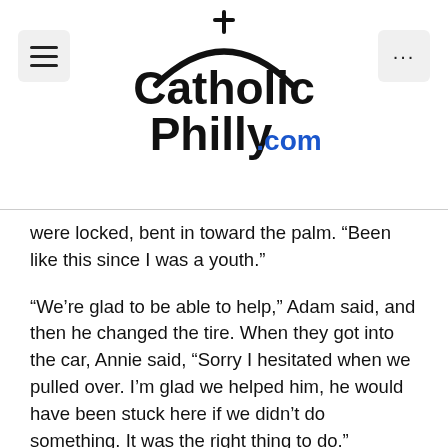CatholicPhilly.com
were locked, bent in toward the palm. “Been like this since I was a youth.”
“We’re glad to be able to help,” Adam said, and then he changed the tire. When they got into the car, Annie said, “Sorry I hesitated when we pulled over. I’m glad we helped him, he would have been stuck here if we didn’t do something. It was the right thing to do.”